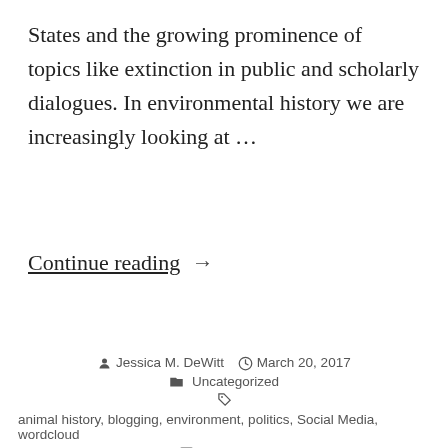States and the growing prominence of topics like extinction in public and scholarly dialogues. In environmental history we are increasingly looking at …
Continue reading →
Jessica M. DeWitt   March 20, 2017   Uncategorized   animal history, blogging, environment, politics, Social Media, wordcloud   1 Comment